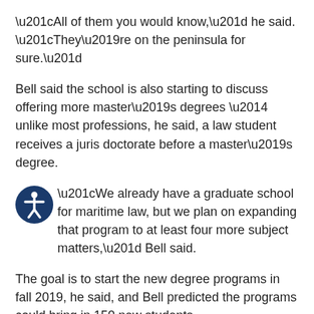“All of them you would know,” he said. “They’re on the peninsula for sure.”
Bell said the school is also starting to discuss offering more master’s degrees — unlike most professions, he said, a law student receives a juris doctorate before a master’s degree.
[Figure (illustration): Accessibility icon: a circular dark blue badge with a white stick figure person with outstretched arms]
“We already have a graduate school for maritime law, but we plan on expanding that program to at least four more subject matters,” Bell said.
The goal is to start the new degree programs in fall 2019, he said, and Bell predicted the programs could bring in 150 new students.